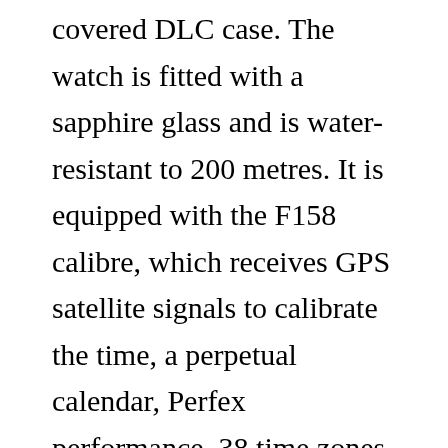covered DLC case. The watch is fitted with a sapphire glass and is water-resistant to 200 metres. It is equipped with the F158 calibre, which receives GPS satellite signals to calibrate the time, a perpetual calendar, Perfex performance, 38 time zones (27 city names) and a wealth of other functions. The watch is also a professional diving watch with a “dive mode”. It is also worth mentioning that the watch has been specially selected in collaboration with TripAdvisor, the world’s largest travel platform, to replace the major